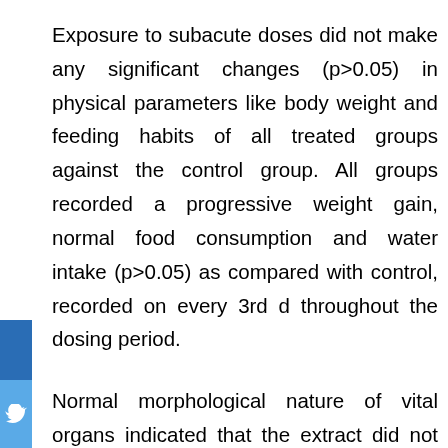Exposure to subacute doses did not make any significant changes (p>0.05) in physical parameters like body weight and feeding habits of all treated groups against the control group. All groups recorded a progressive weight gain, normal food consumption and water intake (p>0.05) as compared with control, recorded on every 3rd d throughout the dosing period.
Normal morphological nature of vital organs indicated that the extract did not affect their metabolism adversely (Table 4). Statistically analyzed data between control versus all three treated groups showed no significant variation in liver (4.03±0.21 to 4.10+0.05 g), kidney (0.74+0.04 to 0.73+0.06) and